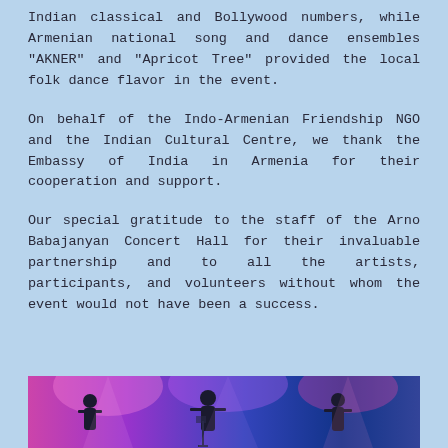Indian classical and Bollywood numbers, while Armenian national song and dance ensembles "AKNER" and "Apricot Tree" provided the local folk dance flavor in the event.
On behalf of the Indo-Armenian Friendship NGO and the Indian Cultural Centre, we thank the Embassy of India in Armenia for their cooperation and support.
Our special gratitude to the staff of the Arno Babajanyan Concert Hall for their invaluable partnership and to all the artists, participants, and volunteers without whom the event would not have been a success.
[Figure (photo): Bottom strip showing a concert scene with performers on stage under purple and pink lighting]